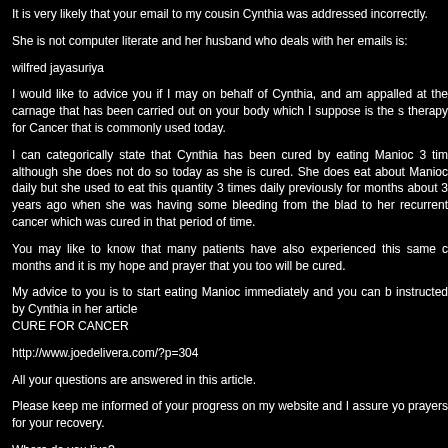It is very likely that your email to my cousin Cynthia was addressed incorrectly.
She is not computer literate and her husband who deals with her emails is:
wilfred jayasuriya
I would like to advice you if I may on behalf of Cynthia, and am appalled at the carnage that has been carried out on your body which I suppose is the standard therapy for Cancer that is commonly used today.
I can categorically state that Cynthia has been cured by eating Manioc 3 times daily although she does not do so today as she is cured. She does eat about 1/2 a Manioc daily but she used to eat this quantity 3 times daily previously for a few months about 3 years ago when she was having some bleeding from the bladder due to her recurrent cancer which was cured in that period of time.
You may like to know that many patients have also experienced this same cure within months and it is my hope and prayer that you too will be cured.
My advice to you is to start eating Manioc immediately and you can be guided as instructed by Cynthia in her article
CURE FOR CANCER
http://www.joedelivera.com/?p=304
All your questions are answered in this article.
Please keep me informed of your progress on my website and I assure you of my prayers for your recovery.
Where do you live?